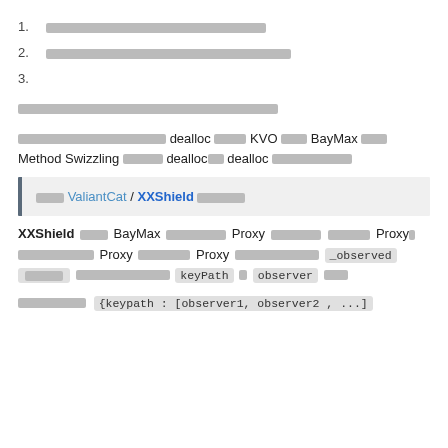1. ████████████████████
2. ████████████████████████
3.
█████████████████████████████████
██████████████████ dealloc █████ KVO ████BayMax ████ Method Swizzling ███████ dealloc███ dealloc ██████████████
████ ValiantCat / XXShield████████
XXShield █████ BayMax ██████████ Proxy █████████ ███████ Proxy████████████████ Proxy █████████ Proxy ████████████████ _observed ███████ ████████████████████ keyPath █ observer ████
██████████ {keypath : [observer1, observer2 , ...]